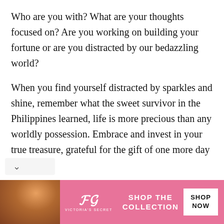Who are you with? What are your thoughts focused on? Are you working on building your fortune or are you distracted by our bedazzling world?
When you find yourself distracted by sparkles and shine, remember what the sweet survivor in the Philippines learned, life is more precious than any worldly possession. Embrace and invest in your true treasure, grateful for the gift of one more day together.
[Figure (other): Three circular grey social media share icons: Facebook, Twitter, and Email/envelope]
[Figure (other): A chevron/down-arrow button UI element on the left side]
[Figure (other): Victoria's Secret advertisement banner with model photo, VS logo, 'SHOP THE COLLECTION' text, and 'SHOP NOW' button]